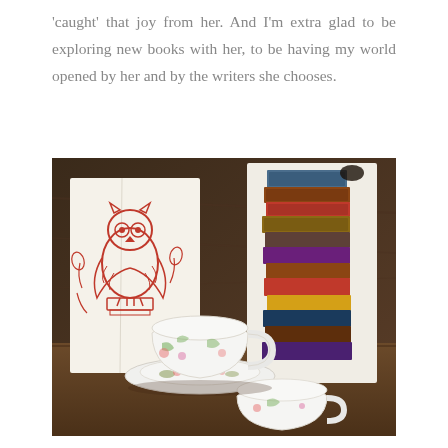'caught' that joy from her. And I'm extra glad to be exploring new books with her, to be having my world opened by her and by the writers she chooses.
[Figure (photo): A photograph showing a white porcelain teacup with floral pattern on a matching saucer, a smaller cream/sugar bowl in front, a greeting card featuring a red owl illustration standing on a book, and a tall card depicting a stack of vintage books, all arranged on a wooden surface.]